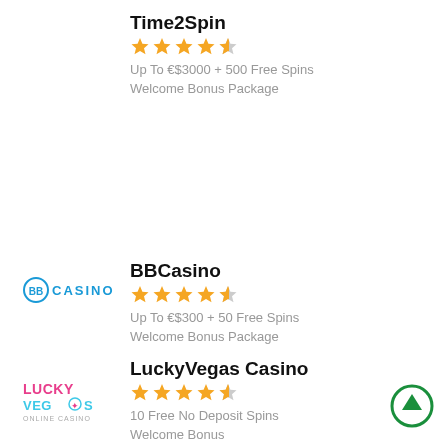Time2Spin
★★★★½
Up To €$3000 + 500 Free Spins Welcome Bonus Package
[Figure (logo): BBCasino logo - circular BB icon with CASINO text in blue]
BBCasino
★★★★½
Up To €$300 + 50 Free Spins Welcome Bonus Package
[Figure (logo): LuckyVegas Casino logo - pink and blue stylized text]
LuckyVegas Casino
★★★★½
10 Free No Deposit Spins Welcome Bonus
Betamo Casino
★★★★½
Up To €$300 + 150 Free Spins